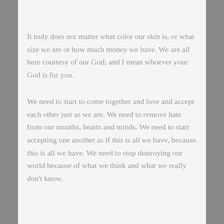It truly does not matter what color our skin is, or what size we are or how much money we have.  We are all here courtesy of our God; and I mean whoever your God is for you.
We need to start to come together and love and accept each other just as we are.  We need to remove hate from our mouths, hearts and minds.  We need to start accepting one another as if this is all we have, because this is all we have.  We need to stop destroying our world because of what we think and what we really don't know.